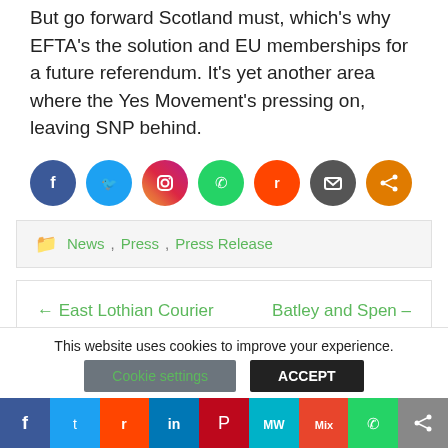But go forward Scotland must, which's why EFTA's the solution and EU memberships for a future referendum. It's yet another area where the Yes Movement's pressing on, leaving SNP behind.
[Figure (illustration): Row of social media share icons: Facebook (blue), Twitter (light blue), Instagram (gradient), WhatsApp (green), Reddit (orange-red), Email (dark gray), Share (orange)]
News, Press, Press Release
← East Lothian Courier – 02 July 2021    Batley and Spen – Scotsman Article – 06 July 2021 →
This website uses cookies to improve your experience.
Cookie settings   ACCEPT
[Figure (illustration): Bottom share bar with icons: Facebook (blue), Twitter (light blue), Reddit (orange-red), LinkedIn (blue), Pinterest (red), MW (teal), Mix (orange-red), WhatsApp (green), Share (gray)]